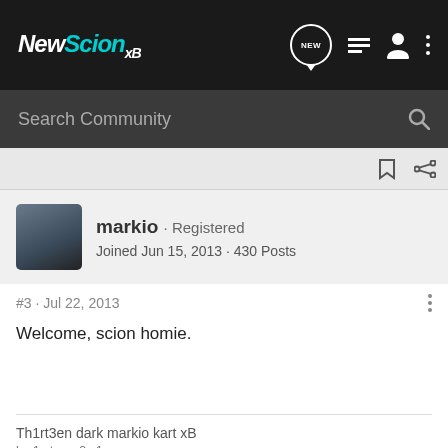NewScion xB
Search Community
markio · Registered
Joined Jun 15, 2013 · 430 Posts
#3 · Jul 22, 2013
Welcome, scion homie.
Th1rt3en dark markio kart xB
b 1 t c 0 1 n